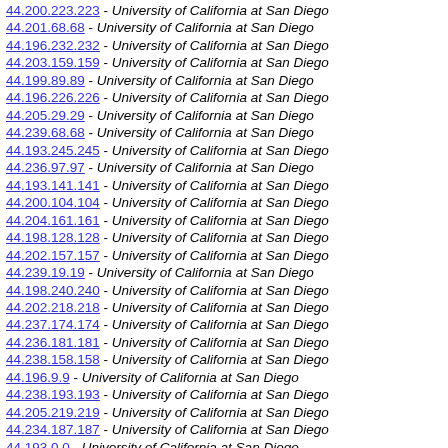44.200.223.223 - University of California at San Diego
44.201.68.68 - University of California at San Diego
44.196.232.232 - University of California at San Diego
44.203.159.159 - University of California at San Diego
44.199.89.89 - University of California at San Diego
44.196.226.226 - University of California at San Diego
44.205.29.29 - University of California at San Diego
44.239.68.68 - University of California at San Diego
44.193.245.245 - University of California at San Diego
44.236.97.97 - University of California at San Diego
44.193.141.141 - University of California at San Diego
44.200.104.104 - University of California at San Diego
44.204.161.161 - University of California at San Diego
44.198.128.128 - University of California at San Diego
44.202.157.157 - University of California at San Diego
44.239.19.19 - University of California at San Diego
44.198.240.240 - University of California at San Diego
44.202.218.218 - University of California at San Diego
44.237.174.174 - University of California at San Diego
44.236.181.181 - University of California at San Diego
44.238.158.158 - University of California at San Diego
44.196.9.9 - University of California at San Diego
44.238.193.193 - University of California at San Diego
44.205.219.219 - University of California at San Diego
44.234.187.187 - University of California at San Diego
44.193.0.0 - University of California at San Diego
44.203.40.40 - University of California at San Diego
44.203.126.126 - University of California at San Diego
44.236.38.38 - University of California at San Diego
44.238.36.36 - University of California at San Diego